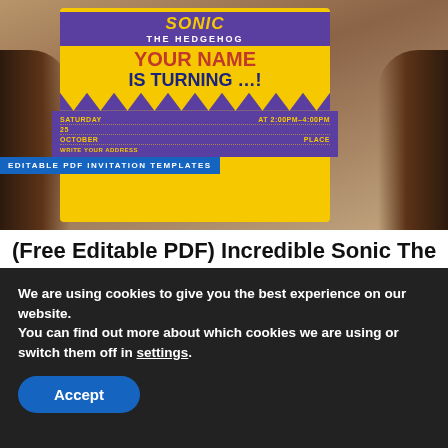[Figure (photo): Hands holding a Sonic The Hedgehog birthday invitation card with yellow and purple design showing 'YOUR NAME IS TURNING...!' text]
EDITABLE PDF INVITATION TEMPLATES
(Free Editable PDF) Incredible Sonic The Hedgehog Birthday Invitation Templates
In this page, you are about to see our latest collection buddies! we made this template in editable PDF...
We are using cookies to give you the best experience on our website.
You can find out more about which cookies we are using or switch them off in settings.
Accept